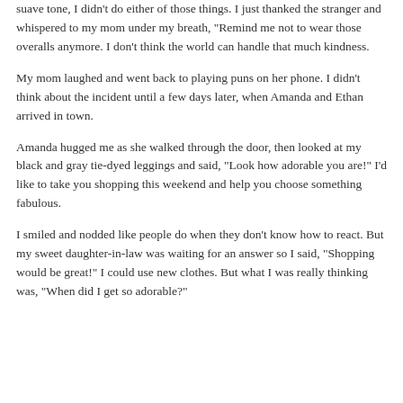suave tone, I didn't do either of those things. I just thanked the stranger and whispered to my mom under my breath, "Remind me not to wear those overalls anymore. I don't think the world can handle that much kindness."
My mom laughed and went back to playing puns on her phone. I didn't think about the incident until a few days later, when Amanda and Ethan arrived in town.
Amanda hugged me as she walked through the door, then looked at my black and gray tie-dyed leggings and said, "Look how adorable you are!" I'd like to take you shopping this weekend and help you choose something fabulous.
I smiled and nodded like people do when they don't know how to react. But my sweet daughter-in-law was waiting for an answer so I said, "Shopping would be great!" I could use new clothes. But what I was really thinking was, "When did I get so adorable?"